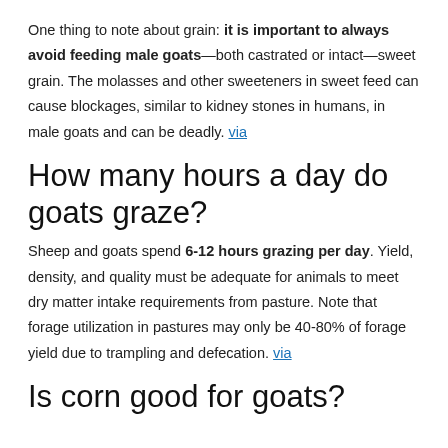One thing to note about grain: it is important to always avoid feeding male goats—both castrated or intact—sweet grain. The molasses and other sweeteners in sweet feed can cause blockages, similar to kidney stones in humans, in male goats and can be deadly. via
How many hours a day do goats graze?
Sheep and goats spend 6-12 hours grazing per day. Yield, density, and quality must be adequate for animals to meet dry matter intake requirements from pasture. Note that forage utilization in pastures may only be 40-80% of forage yield due to trampling and defecation. via
Is corn good for goats?